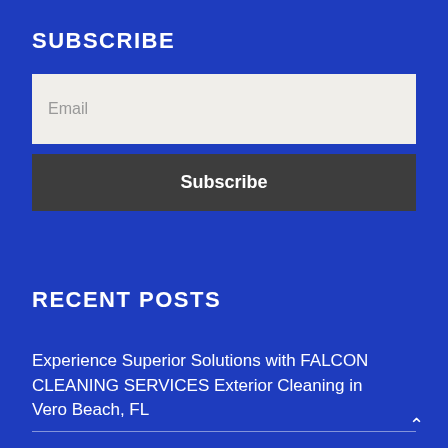SUBSCRIBE
Email
Subscribe
RECENT POSTS
Experience Superior Solutions with FALCON CLEANING SERVICES Exterior Cleaning in Vero Beach, FL